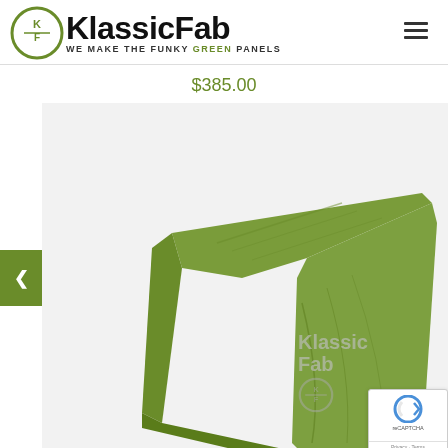[Figure (logo): KlassicFab logo with circular KF emblem and text 'WE MAKE THE FUNKY GREEN PANELS']
$385.00
[Figure (photo): 3D render of a green automotive hood/panel piece (KlassicFab product) floating on white background, with KlassicFab watermark and reCAPTCHA badge overlay]